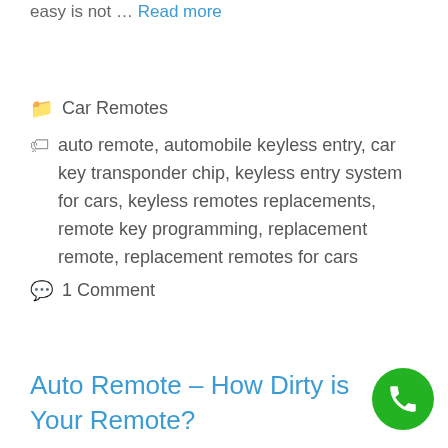easy is not … Read more
Car Remotes
auto remote, automobile keyless entry, car key transponder chip, keyless entry system for cars, keyless remotes replacements, remote key programming, replacement remote, replacement remotes for cars
1 Comment
Auto Remote – How Dirty is Your Remote?